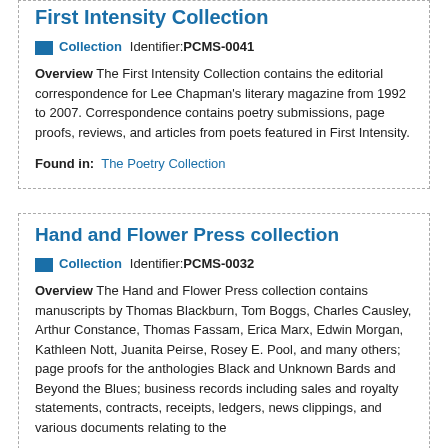First Intensity Collection
Collection  Identifier: PCMS-0041
Overview The First Intensity Collection contains the editorial correspondence for Lee Chapman's literary magazine from 1992 to 2007. Correspondence contains poetry submissions, page proofs, reviews, and articles from poets featured in First Intensity.
Found in: The Poetry Collection
Hand and Flower Press collection
Collection  Identifier: PCMS-0032
Overview The Hand and Flower Press collection contains manuscripts by Thomas Blackburn, Tom Boggs, Charles Causley, Arthur Constance, Thomas Fassam, Erica Marx, Edwin Morgan, Kathleen Nott, Juanita Peirse, Rosey E. Pool, and many others; page proofs for the anthologies Black and Unknown Bards and Beyond the Blues; business records including sales and royalty statements, contracts, receipts, ledgers, news clippings, and various documents relating to the